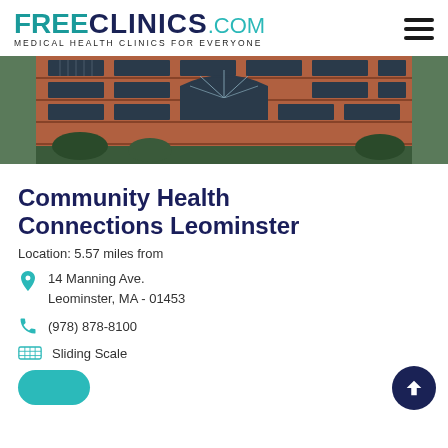FREE CLINICS.COM Medical Health Clinics For Everyone
[Figure (photo): Brick building exterior with large windows including an arched window in the center, multi-story facade]
Community Health Connections Leominster
Location: 5.57 miles from
14 Manning Ave.
Leominster, MA - 01453
(978) 878-8100
Sliding Scale